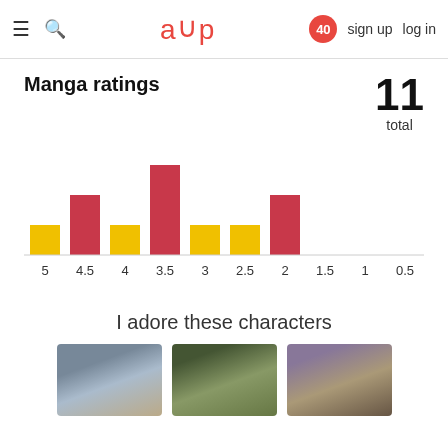≡ 🔍 aup 40 sign up log in
Manga ratings
11 total
[Figure (histogram): Manga ratings]
I adore these characters
[Figure (photo): Three anime character portrait images: a robot/armor character (Alphonse Elric), a white-haired character, and a red-haired character (Tanjiro Kamado)]